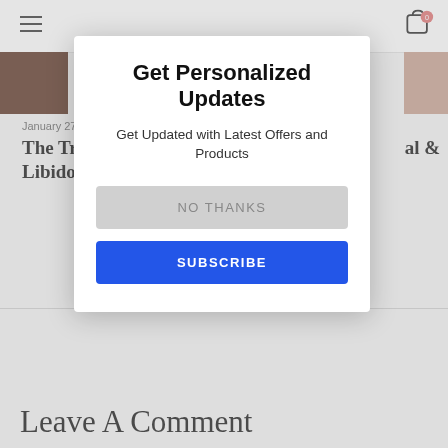[Figure (screenshot): Website navigation bar with hamburger menu icon on left and shopping cart icon with badge '0' on right]
[Figure (photo): Partial article image strip showing dark brown and skin-toned image portions on left and right sides]
January 27
The Tru... al & Libido
Get Personalized Updates
Get Updated with Latest Offers and Products
NO THANKS
SUBSCRIBE
Leave A Comment